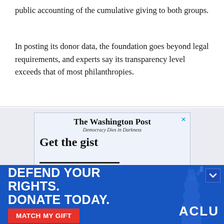public accounting of the cumulative giving to both groups.
In posting its donor data, the foundation goes beyond legal requirements, and experts say its transparency level exceeds that of most philanthropies.
[Figure (screenshot): Washington Post advertisement: 'The Washington Post — Democracy Dies in Darkness' with text 'Get the gist' and partial second line visible. Close (X) button in top-right corner.]
[Figure (infographic): ACLU banner advertisement on blue background. Bold white text: 'DEFEND YOUR RIGHTS. DONATE TODAY.' with a red button 'MATCH MY GIFT' and ACLU logo in white. Statue of Liberty torch arm silhouette on right side. Chevron/down arrow in top-right corner.]